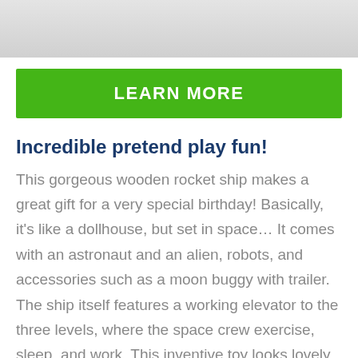[Figure (photo): Product image showing toy cars and racing track set on a white background]
LEARN MORE
Incredible pretend play fun!
This gorgeous wooden rocket ship makes a great gift for a very special birthday! Basically, it's like a dollhouse, but set in space… It comes with an astronaut and an alien, robots, and accessories such as a moon buggy with trailer. The ship itself features a working elevator to the three levels, where the space crew exercise, sleep, and work. This inventive toy looks lovely in any child's bedroom or playroom, and it's sure